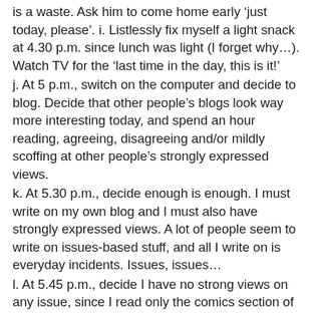is a waste. Ask him to come home early ‘just today, please’. i. Listlessly fix myself a light snack at 4.30 p.m. since lunch was light (I forget why…). Watch TV for the ‘last time in the day, this is it!’
j. At 5 p.m., switch on the computer and decide to blog. Decide that other people’s blogs look way more interesting today, and spend an hour reading, agreeing, disagreeing and/or mildly scoffing at other people’s strongly expressed views.
k. At 5.30 p.m., decide enough is enough. I must write on my own blog and I must also have strongly expressed views. A lot of people seem to write on issues-based stuff, and all I write on is everyday incidents. Issues, issues…
l. At 5.45 p.m., decide I have no strong views on any issue, since I read only the comics section of the newspapers, and that nothing matters anyway and the world is going down the drain and that Osho said that we must let go, meditate and ‘watch ourselves’ to increase our awareness.
m. Spend the next fifteen minutes watching myself quietly and meditating. Realize I am a fascinating but highly disturbed person, who doesn’t like being watched. Resolve to do this more often, and gradually become a very peaceful